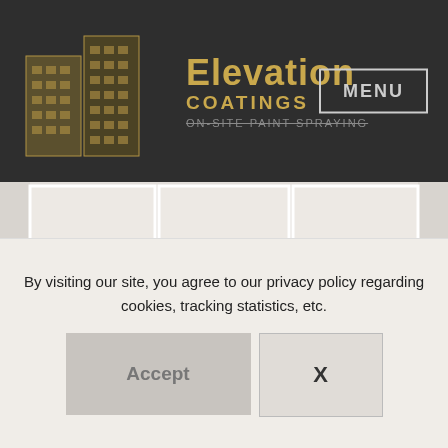Elevation Coatings — ON-SITE PAINT SPRAYING — MENU
[Figure (screenshot): Website screenshot grid area showing placeholder image tiles in a 3-column grid layout with light beige background]
By visiting our site, you agree to our privacy policy regarding cookies, tracking statistics, etc.
Accept   X